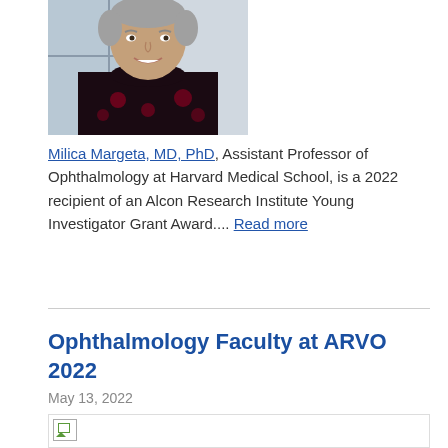[Figure (photo): Headshot photo of Milica Margeta, MD, PhD — a woman with short hair wearing a dark top with floral pattern, photographed against a light background.]
Milica Margeta, MD, PhD, Assistant Professor of Ophthalmology at Harvard Medical School, is a 2022 recipient of an Alcon Research Institute Young Investigator Grant Award.... Read more
Ophthalmology Faculty at ARVO 2022
May 13, 2022
[Figure (photo): Broken/unloaded image placeholder for the Ophthalmology Faculty at ARVO 2022 article.]